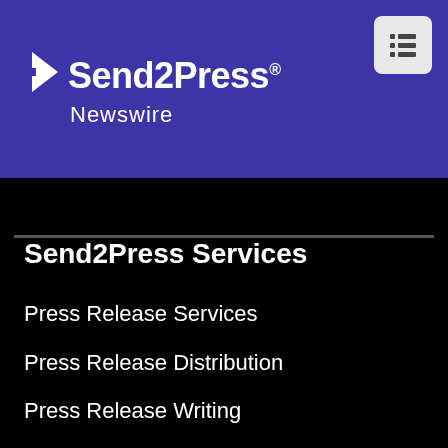Send2Press Newswire
Send2Press Services
Press Release Services
Press Release Distribution
Press Release Writing
Example Writing Projects
Price List & Features
S2P Media Lists
Requirements & FAQs